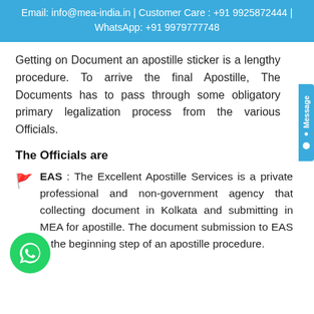Email: info@mea-india.in | Customer Care : +91 9925872444 | WhatsApp: +91 9979777748
Getting on Document an apostille sticker is a lengthy procedure. To arrive the final Apostille, The Documents has to pass through some obligatory primary legalization process from the various Officials.
The Officials are
EAS : The Excellent Apostille Services is a private professional and non-government agency that collecting document in Kolkata and submitting in MEA for apostille. The document submission to EAS is the beginning step of an apostille procedure.